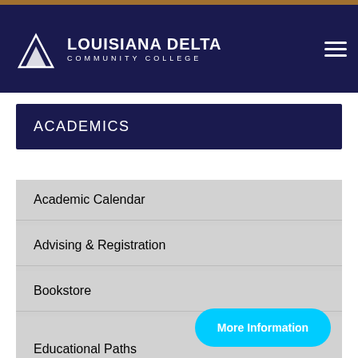Louisiana Delta Community College
ACADEMICS
Academic Calendar
Advising & Registration
Bookstore
Change of Major
College Catalog
Educational Paths
More Information